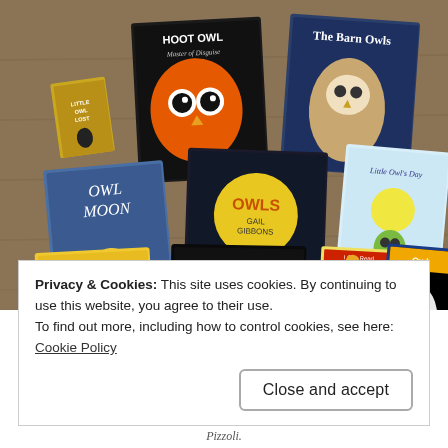[Figure (photo): A collection of owl-themed children's books spread out on a wooden floor, including 'Hoot Owl Master of Disguise', 'The Barn Owls', 'Little Owl Lost', 'Owl Moon', 'Owls by Gail Gibbons', 'Little Owl's Day', 'Good-Night Owl! by Pat Hutchins', 'Good Night Owl', 'Owl at Home (I Can Read)', and several other owl books.]
Privacy & Cookies: This site uses cookies. By continuing to use this website, you agree to their use.
To find out more, including how to control cookies, see here: Cookie Policy
Close and accept
Pizzoli.